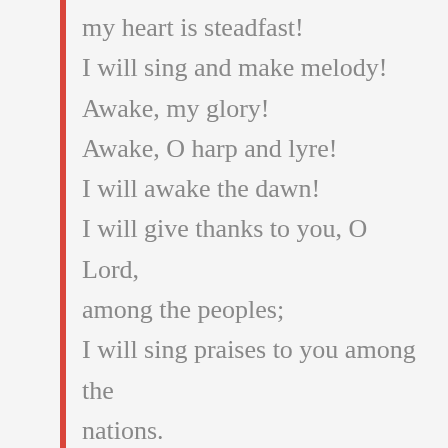my heart is steadfast!
I will sing and make melody!
Awake, my glory!
Awake, O harp and lyre!
I will awake the dawn!
I will give thanks to you, O Lord, among the peoples;
I will sing praises to you among the nations.
For your steadfast love is great to the heavens,
your faithfulness to the clouds.
Be exalted, O God, above the